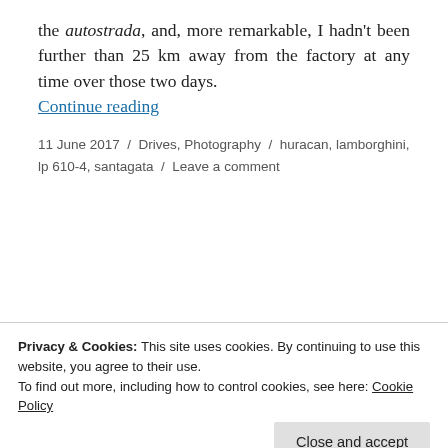the autostrada, and, more remarkable, I hadn't been further than 25 km away from the factory at any time over those two days. Continue reading
11 June 2017 / Drives, Photography / huracan, lamborghini, lp 610-4, santagata / Leave a comment
[Figure (illustration): Three circular social media icons: Facebook, Instagram, YouTube]
Privacy & Cookies: This site uses cookies. By continuing to use this website, you agree to their use. To find out more, including how to control cookies, see here: Cookie Policy
Close and accept